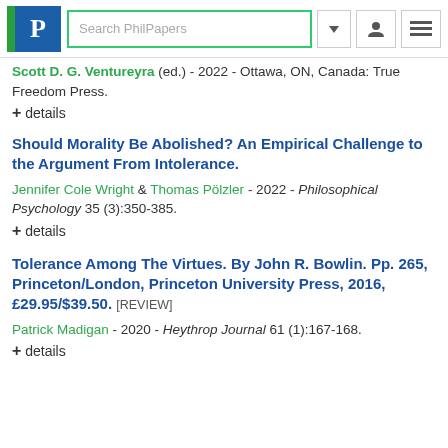[Figure (screenshot): PhilPapers website navigation bar with logo, search box, dropdown, user icon, and hamburger menu icon]
Scott D. G. Ventureyra (ed.) - 2022 - Ottawa, ON, Canada: True Freedom Press.
+ details
Should Morality Be Abolished? An Empirical Challenge to the Argument From Intolerance.
Jennifer Cole Wright & Thomas Pölzler - 2022 - Philosophical Psychology 35 (3):350-385.
+ details
Tolerance Among The Virtues. By John R. Bowlin. Pp. 265, Princeton/London, Princeton University Press, 2016, £29.95/$39.50. [REVIEW]
Patrick Madigan - 2020 - Heythrop Journal 61 (1):167-168.
+ details